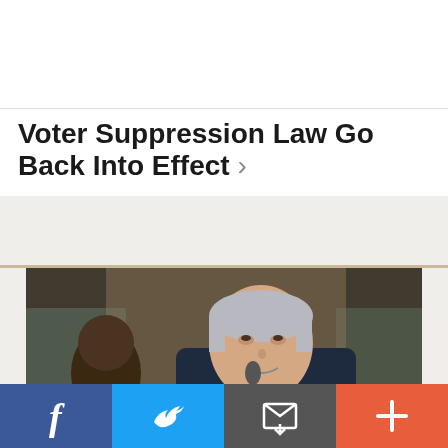[Figure (logo): People For the American Way logo — red starburst graphic with blue text]
Voter Suppression Law Go Back Into Effect >
[Figure (photo): Senator Whitehouse speaking at a Senate Judiciary Committee hearing, room SD-226. Name placards visible for MR. DURBIN and MR. WHITEHOUSE.]
BLOG POST | MAY 4, 2022
[Figure (infographic): Social sharing bar with Facebook, Twitter, email, and plus buttons]